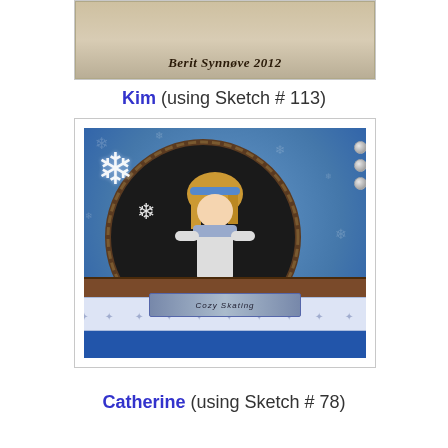[Figure (photo): Partial view of a handmade card with text 'Berit Synnøve 2012' in italic script on a tan/brown background]
Kim (using Sketch # 113)
[Figure (photo): Handmade greeting card with blue snowflake background, dark oval frame containing a figure of a girl ice skating with blonde hair and blue scarf, white snowflake embellishments, brown scalloped border strip, white patterned ribbon strip, and a silver banner]
Catherine (using Sketch # 78)